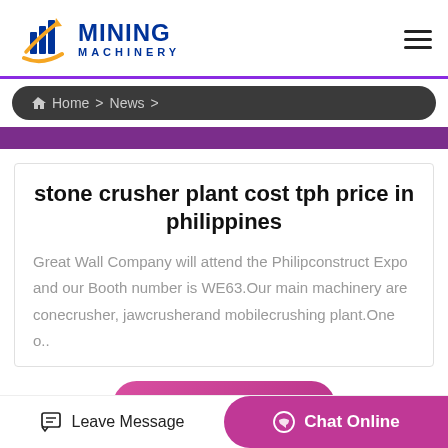[Figure (logo): Mining Machinery logo with blue building/bar chart icon and orange swoosh arrow, with bold blue text MINING MACHINERY]
Home > News >
stone crusher plant cost tph price in philippines
Great Wall Company will attend the Philipconstruct Expo and our Booth number is WE63.Our main machinery are conecrusher, jawcrusherand mobilecrushing plant.One o..